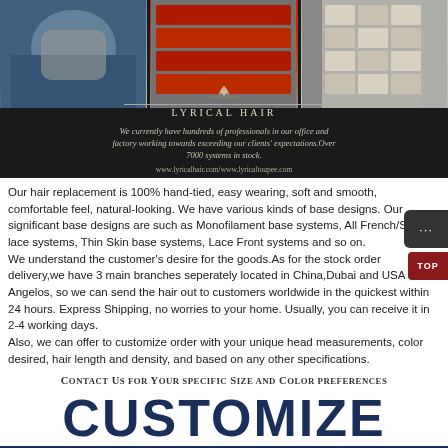[Figure (photo): Banner with three photos: a person in a gray apron, red storage baskets on shelves, and box storage shelving. Below photos is the Lyrical Hair logo with decorative divider lines and brand text. Tagline text reads: We currently have hundreds of professionals in our office and factory working towards exceeding our clients' expectations. Over 7000 systems in stock. URL: www.lyricalhair.com/www.lyricaltoupee.com]
Our hair replacement is 100% hand-tied, easy wearing, soft and smooth, comfortable feel, natural-looking. We have various kinds of base designs. Our significant base designs are such as Monofilament base systems, All French/Swiss lace systems, Thin Skin base systems, Lace Front systems and so on.
We understand the customer's desire for the goods.As for the stock order delivery,we have 3 main branches seperately located in China,Dubai and USA Los Angelos, so we can send the hair out to customers worldwide in the quickest within 24 hours. Express Shipping, no worries to your home. Usually, you can receive it in 2-4 working days.
Also, we can offer to customize order with your unique head measurements, color desired, hair length and density, and based on any other specifications.
Contact Us for Your specific Size and Color preferences
CUSTOMIZE